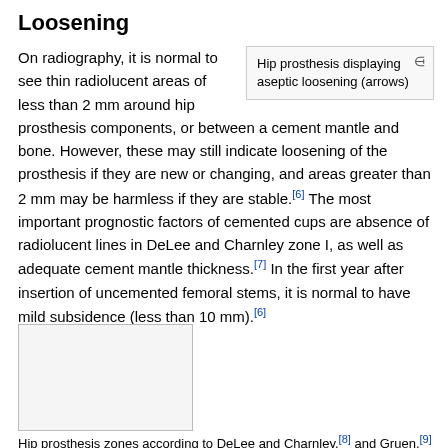Loosening
[Figure (illustration): Hip prosthesis displaying aseptic loosening (arrows) — placeholder image box]
Hip prosthesis displaying aseptic loosening (arrows)
On radiography, it is normal to see thin radiolucent areas of less than 2 mm around hip prosthesis components, or between a cement mantle and bone. However, these may still indicate loosening of the prosthesis if they are new or changing, and areas greater than 2 mm may be harmless if they are stable.[6] The most important prognostic factors of cemented cups are absence of radiolucent lines in DeLee and Charnley zone I, as well as adequate cement mantle thickness.[7] In the first year after insertion of uncemented femoral stems, it is normal to have mild subsidence (less than 10 mm).[6]
[Figure (illustration): Hip prosthesis zones according to DeLee and Charnley, and Gruen — placeholder image box]
Hip prosthesis zones according to DeLee and Charnley,[8] and Gruen.[9]
These are used to describe the